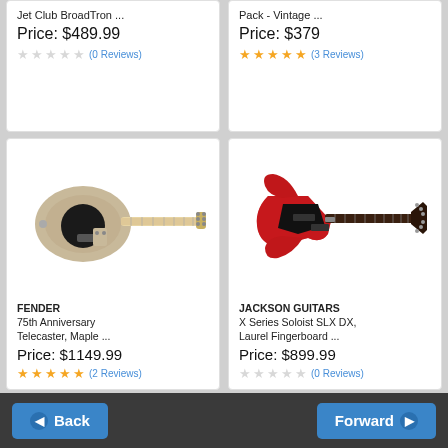Jet Club BroadTron ...
Price: $489.99
(0 Reviews)
Pack - Vintage ...
Price: $379
(3 Reviews)
[Figure (photo): Beige/champagne Fender Telecaster electric guitar with black pickguard and maple neck]
FENDER
75th Anniversary Telecaster, Maple ...
Price: $1149.99
★★★★★ (2 Reviews)
[Figure (photo): Red Jackson X Series Soloist SLX DX electric guitar with dark fingerboard]
JACKSON GUITARS
X Series Soloist SLX DX, Laurel Fingerboard ...
Price: $899.99
☆☆☆☆☆ (0 Reviews)
Back
Forward